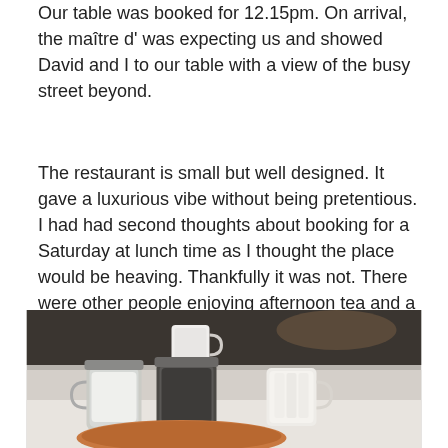Our table was booked for 12.15pm. On arrival, the maitre d' was expecting us and showed David and I to our table with a view of the busy street beyond.
The restaurant is small but well designed. It gave a luxurious vibe without being pretentious. I had had second thoughts about booking for a Saturday at lunch time as I thought the place would be heaving. Thankfully it was not. There were other people enjoying afternoon tea and a party celebrating a baby shower but that was it. I suppose it would be busier of an evening.
[Figure (photo): Photo of a restaurant table setting showing condiment jars, a small white mug, sugar packets in a container, and a cup of tea in the foreground, all on a white table surface.]